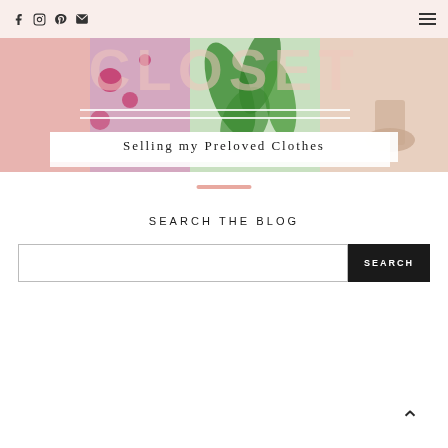Social icons (Facebook, Instagram, Pinterest, Email) and hamburger menu
[Figure (photo): Blog header image showing colorful clothing and accessories with CLOSET text overlay and two white horizontal lines, with pink/salmon background]
Selling my Preloved Clothes
SEARCH THE BLOG
Search input field with SEARCH button